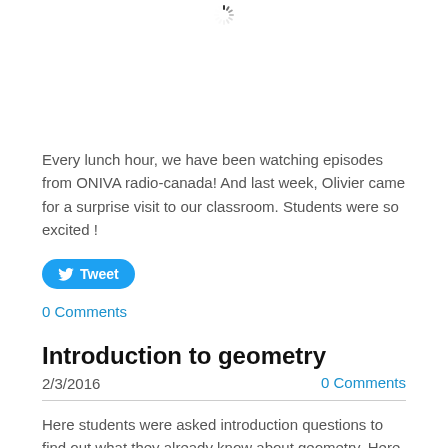[Figure (other): Loading spinner icon at top of page]
Every lunch hour, we have been watching episodes from ONIVA radio-canada! And last week, Olivier came for a surprise visit to our classroom. Students were so excited !
[Figure (other): Tweet button with Twitter bird icon]
0 Comments
Introduction to geometry
2/3/2016
0 Comments
Here students were asked introduction questions to find out what they already know about geometry. Here were some of the